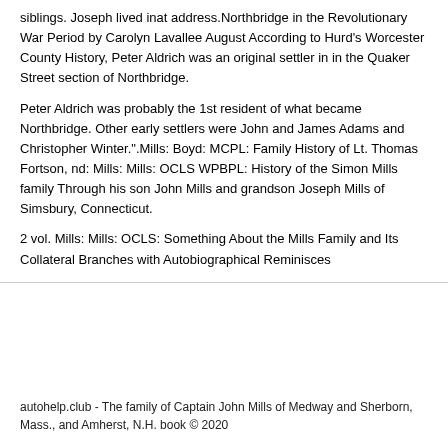siblings. Joseph lived inat address.Northbridge in the Revolutionary War Period by Carolyn Lavallee August According to Hurd's Worcester County History, Peter Aldrich was an original settler in in the Quaker Street section of Northbridge.
Peter Aldrich was probably the 1st resident of what became Northbridge. Other early settlers were John and James Adams and Christopher Winter.".Mills: Boyd: MCPL: Family History of Lt. Thomas Fortson, nd: Mills: Mills: OCLS WPBPL: History of the Simon Mills family Through his son John Mills and grandson Joseph Mills of Simsbury, Connecticut.
2 vol. Mills: Mills: OCLS: Something About the Mills Family and Its Collateral Branches with Autobiographical Reminisces
autohelp.club - The family of Captain John Mills of Medway and Sherborn, Mass., and Amherst, N.H. book © 2020